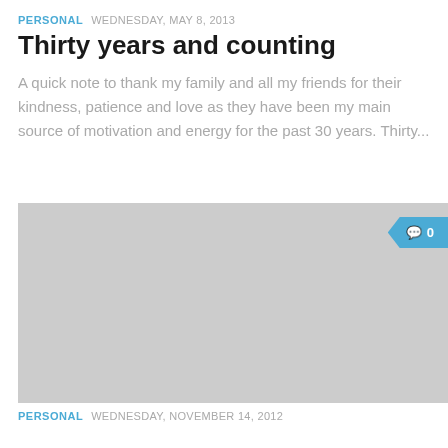PERSONAL  WEDNESDAY, MAY 8, 2013
Thirty years and counting
A quick note to thank my family and all my friends for their kindness, patience and love as they have been my main source of motivation and energy for the past 30 years. Thirty...
[Figure (photo): Gray placeholder image with a comment badge showing '0' comments in blue]
PERSONAL  WEDNESDAY, NOVEMBER 14, 2012